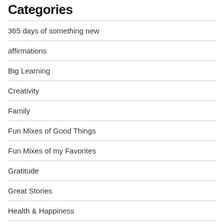Categories
365 days of something new
affirmations
Big Learning
Creativity
Family
Fun Mixes of Good Things
Fun Mixes of my Favorites
Gratitude
Great Stories
Health & Happiness
Inspiration
Lessons learned from Movies